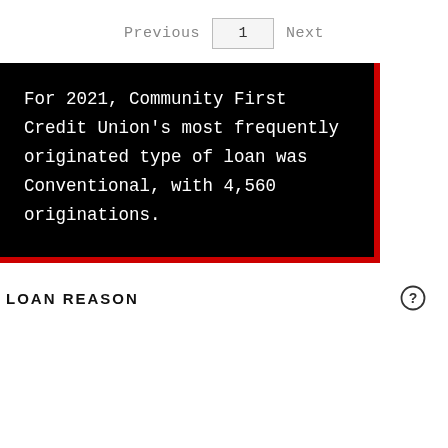Previous  1  Next
For 2021, Community First Credit Union's most frequently originated type of loan was Conventional, with 4,560 originations.
LOAN REASON